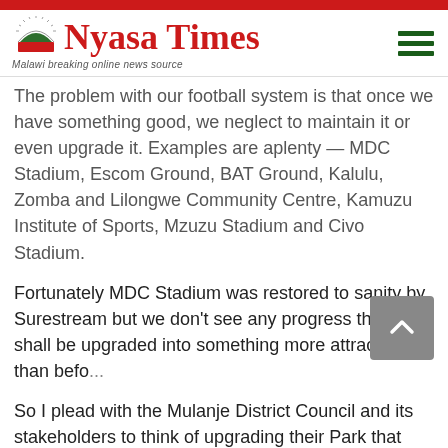[Figure (logo): Nyasa Times logo with sun/dome icon and tagline 'Malawi breaking online news source']
The problem with our football system is that once we have something good, we neglect to maintain it or even upgrade it. Examples are aplenty — MDC Stadium, Escom Ground, BAT Ground, Kalulu, Zomba and Lilongwe Community Centre, Kamuzu Institute of Sports, Mzuzu Stadium and Civo Stadium.
Fortunately MDC Stadium was restored to sanity by Surestream but we don't see any progress that it shall be upgraded into something more attractive than befo...
So I plead with the Mulanje District Council and its stakeholders to think of upgrading their Park that has added more value as it adds to the great Mulanje Mountain as a tourist attraction.
Always view each weekend as a money spinner for the